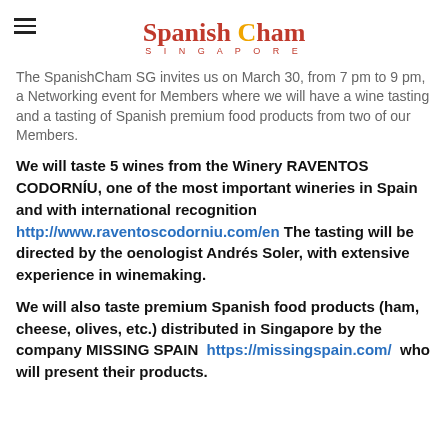Spanish Cham SINGAPORE
The SpanishCham SG invites us on March 30, from 7 pm to 9 pm, a Networking event for Members where we will have a wine tasting and a tasting of Spanish premium food products from two of our Members.
We will taste 5 wines from the Winery RAVENTOS CODORNÍU, one of the most important wineries in Spain and with international recognition http://www.raventoscodorniu.com/en The tasting will be directed by the oenologist Andrés Soler, with extensive experience in winemaking.
We will also taste premium Spanish food products (ham, cheese, olives, etc.) distributed in Singapore by the company MISSING SPAIN https://missingspain.com/ who will present their products.